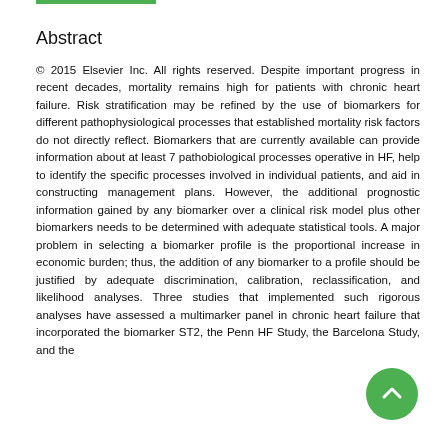Abstract
© 2015 Elsevier Inc. All rights reserved. Despite important progress in recent decades, mortality remains high for patients with chronic heart failure. Risk stratification may be refined by the use of biomarkers for different pathophysiological processes that established mortality risk factors do not directly reflect. Biomarkers that are currently available can provide information about at least 7 pathobiological processes operative in HF, help to identify the specific processes involved in individual patients, and aid in constructing management plans. However, the additional prognostic information gained by any biomarker over a clinical risk model plus other biomarkers needs to be determined with adequate statistical tools. A major problem in selecting a biomarker profile is the proportional increase in economic burden; thus, the addition of any biomarker to a profile should be justified by adequate discrimination, calibration, reclassification, and likelihood analyses. Three studies that implemented such rigorous analyses have assessed a multimarker panel in chronic heart failure that incorporated the biomarker ST2, the Penn HF Study, the Barcelona Study, and the